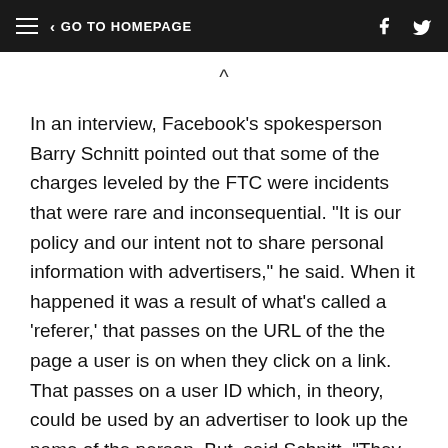≡  < GO TO HOMEPAGE
In an interview, Facebook's spokesperson Barry Schnitt pointed out that some of the charges leveled by the FTC were incidents that were rare and inconsequential. "It is our policy and our intent not to share personal information with advertisers," he said. When it happened it was a result of what's called a 'referer,' that passes on the URL of the the page a user is on when they click on a link. That passes on a user ID which, in theory, could be used by an advertiser to look up the name of the person. But, said Schnitt, "They